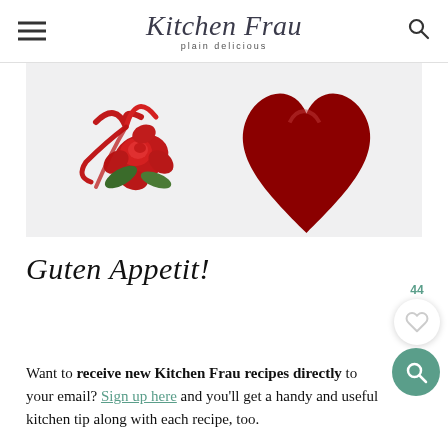Kitchen Frau — plain delicious
[Figure (photo): Red velvet heart-shaped box with red fabric rose and ribbon on white background]
Guten Appetit!
Want to receive new Kitchen Frau recipes directly to your email? Sign up here and you'll get a handy and useful kitchen tip along with each recipe, too.